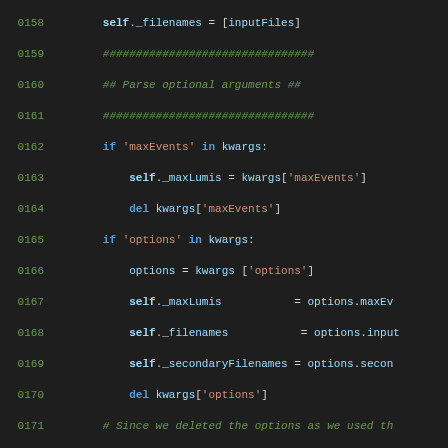[Figure (screenshot): Python source code editor view showing lines 0158 through 0187, dark theme IDE with syntax highlighting. Code shows class constructor logic for parsing optional arguments including maxEvents and options kwargs, error handling with RuntimeError, and beginning of __del__ destructor method.]